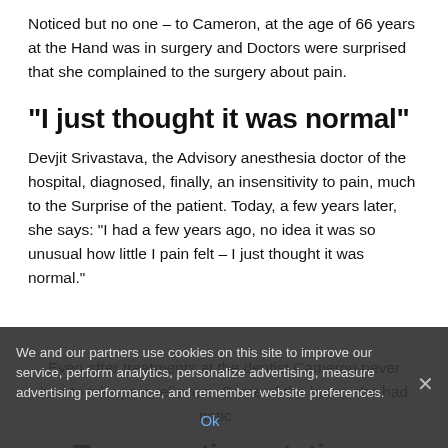Noticed but no one – to Cameron, at the age of 66 years at the Hand was in surgery and Doctors were surprised that she complained to the surgery about pain.
"I just thought it was normal"
Devjit Srivastava, the Advisory anesthesia doctor of the hospital, diagnosed, finally, an insensitivity to pain, much to the Surprise of the patient. Today, a few years later, she says: "I had a few years ago, no idea it was so unusual how little I pain felt – I just thought it was normal."
Even after treatments at the dentist Cameron never had to take pain relievers. Some of the burns she had noticed
We and our partners use cookies on this site to improve our service, perform analytics, personalize advertising, measure advertising performance, and remember website preferences.
Ok
Two genetic mutations